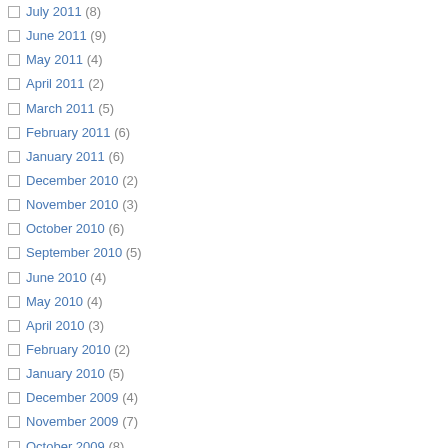July 2011 (8)
June 2011 (9)
May 2011 (4)
April 2011 (2)
March 2011 (5)
February 2011 (6)
January 2011 (6)
December 2010 (2)
November 2010 (3)
October 2010 (6)
September 2010 (5)
June 2010 (4)
May 2010 (4)
April 2010 (3)
February 2010 (2)
January 2010 (5)
December 2009 (4)
November 2009 (7)
October 2009 (8)
September 2009 (1)
August 2009 (3)
July 2009 (3)
June 2009 (2)
May 2009 (3)
April 2009 (1)
March 2009 (6)
February 2009 (6)
biologist figure the male brain to be fully developed by th